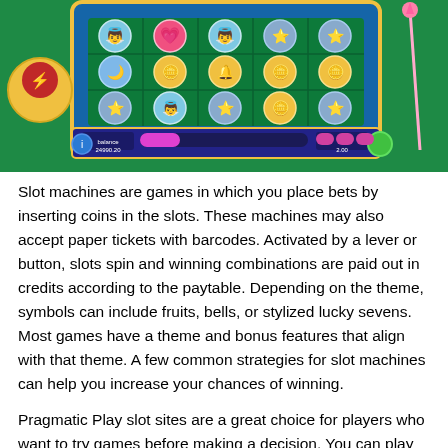[Figure (screenshot): Screenshot of an animated slot machine game with a magical girl theme on a green background, showing symbols like stars, hearts, angels, and coins. The game UI shows balance: 24990.20 and bet: 2.00.]
Slot machines are games in which you place bets by inserting coins in the slots. These machines may also accept paper tickets with barcodes. Activated by a lever or button, slots spin and winning combinations are paid out in credits according to the paytable. Depending on the theme, symbols can include fruits, bells, or stylized lucky sevens. Most games have a theme and bonus features that align with that theme. A few common strategies for slot machines can help you increase your chances of winning.
Pragmatic Play slot sites are a great choice for players who want to try games before making a decision. You can play demo versions of over 120 Pragmatic slots for free...